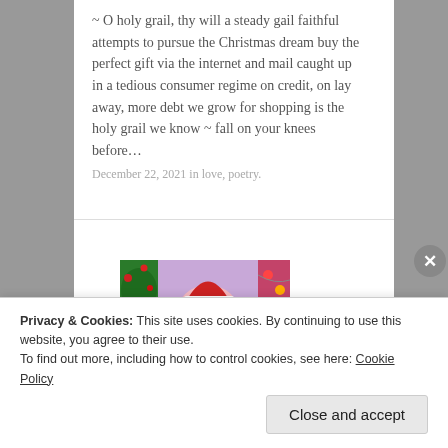~ O holy grail, thy will a steady gail faithful attempts to pursue the Christmas dream buy the perfect gift via the internet and mail caught up in a tedious consumer regime on credit, on lay away, more debt we grow for shopping is the holy grail we know ~ fall on your knees before…
December 22, 2021 in love, poetry.
[Figure (photo): A glowing Santa Claus figurine/decoration with Christmas lights and decorations in the background.]
Privacy & Cookies: This site uses cookies. By continuing to use this website, you agree to their use.
To find out more, including how to control cookies, see here: Cookie Policy
Close and accept